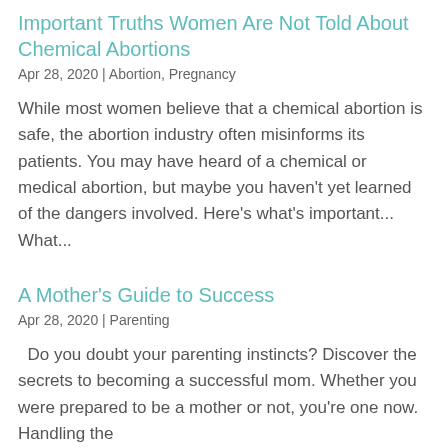Important Truths Women Are Not Told About Chemical Abortions
Apr 28, 2020 | Abortion, Pregnancy
While most women believe that a chemical abortion is safe, the abortion industry often misinforms its patients. You may have heard of a chemical or medical abortion, but maybe you haven't yet learned of the dangers involved. Here's what's important...   What...
A Mother's Guide to Success
Apr 28, 2020 | Parenting
Do you doubt your parenting instincts? Discover the secrets to becoming a successful mom. Whether you were prepared to be a mother or not, you're one now. Handling the